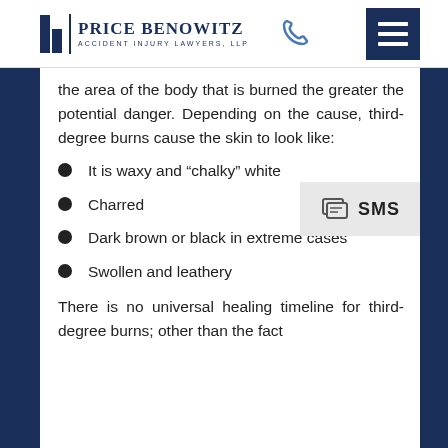Price Benowitz Accident Injury Lawyers, LLP
the area of the body that is burned the greater the potential danger. Depending on the cause, third-degree burns cause the skin to look like:
It is waxy and “chalky” white
Charred
Dark brown or black in extreme cases
Swollen and leathery
There is no universal healing timeline for third-degree burns; other than the fact